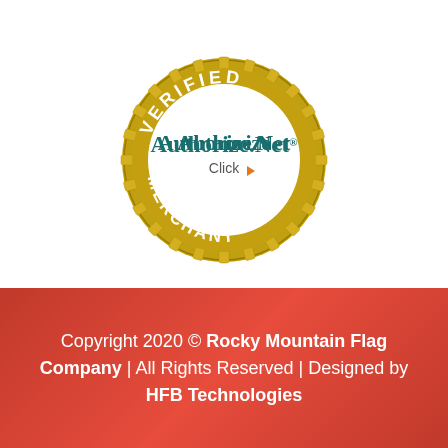[Figure (logo): Authorize.Net Verified Merchant badge — gold gear/cog ring with 'VERIFIED' at top and 'MERCHANT' at bottom in white text, white circle center containing 'Authorize.Net' in teal and 'Click' with orange arrow]
[Figure (logo): Row of payment method icons: VISA (blue text), PayPal (blue/yellow text), Mastercard (red/orange overlapping circles), Discover (orange swoosh), Amazon (gold 'a' logo)]
Copyright 2020 © Rocky Mountain Flag Company | All Rights Reserved | Designed by HFB Technologies